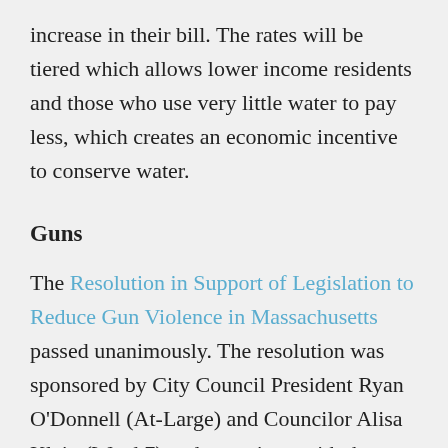increase in their bill. The rates will be tiered which allows lower income residents and those who use very little water to pay less, which creates an economic incentive to conserve water.
Guns
The Resolution in Support of Legislation to Reduce Gun Violence in Massachusetts passed unanimously. The resolution was sponsored by City Council President Ryan O'Donnell (At-Large) and Councilor Alisa Klein (Ward 7) and co-written with the Northampton Youth Commission. In introducing the bill, Councilor O'Donnell revealed the inspiration behind it, “The creation of the bill was less of an intellectual process and more of an emotional process. I got the idea when I was standing in a sea of literally thousands of